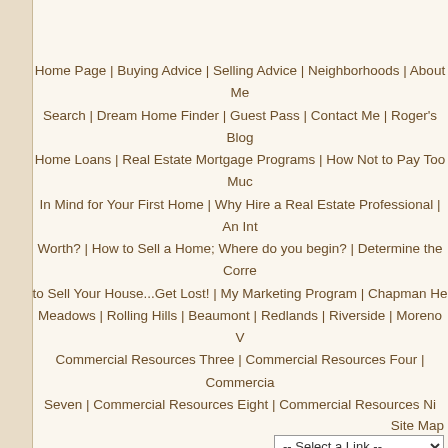Home Page | Buying Advice | Selling Advice | Neighborhoods | About Me | Search | Dream Home Finder | Guest Pass | Contact Me | Roger's Blog | Home Loans | Real Estate Mortgage Programs | How Not to Pay Too Much | In Mind for Your First Home | Why Hire a Real Estate Professional | An Int... Worth? | How to Sell a Home; Where do you begin? | Determine the Corre... to Sell Your House...Get Lost! | My Marketing Program | Chapman He... Meadows | Rolling Hills | Beaumont | Redlands | Riverside | Moreno V... Commercial Resources Three | Commercial Resources Four | Commercia... Seven | Commercial Resources Eight | Commercial Resources Ni... Site Map
-- Select a Link --
Century 21 Lois
33699 Yucaipa Blvd. •
Office: 909.227.2191 • T
Email: skrug@
DRE License